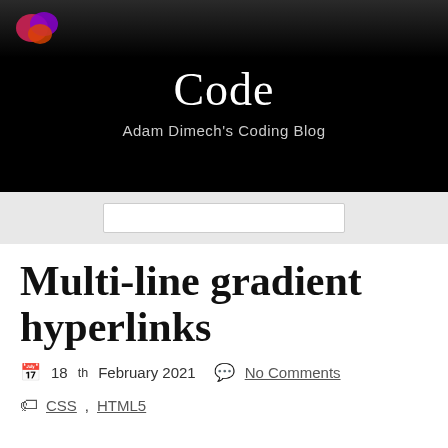Code — Adam Dimech's Coding Blog
Multi-line gradient hyperlinks
18th February 2021   No Comments
CSS, HTML5